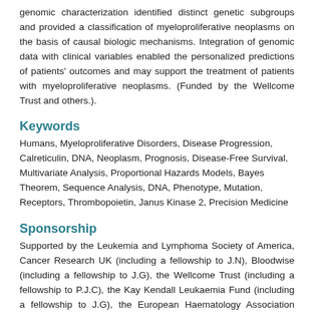genomic characterization identified distinct genetic subgroups and provided a classification of myeloproliferative neoplasms on the basis of causal biologic mechanisms. Integration of genomic data with clinical variables enabled the personalized predictions of patients' outcomes and may support the treatment of patients with myeloproliferative neoplasms. (Funded by the Wellcome Trust and others.).
Keywords
Humans, Myeloproliferative Disorders, Disease Progression, Calreticulin, DNA, Neoplasm, Prognosis, Disease-Free Survival, Multivariate Analysis, Proportional Hazards Models, Bayes Theorem, Sequence Analysis, DNA, Phenotype, Mutation, Receptors, Thrombopoietin, Janus Kinase 2, Precision Medicine
Sponsorship
Supported by the Leukemia and Lymphoma Society of America, Cancer Research UK (including a fellowship to J.N), Bloodwise (including a fellowship to J.G), the Wellcome Trust (including a fellowship to P.J.C), the Kay Kendall Leukaemia Fund (including a fellowship to J.G), the European Haematology Association (research grant to J.N), the Li Ka Shing foundation (D.C.W), and the Medical Research Council, UK. A.M.V. and P.G. were supported by a grant from Associazione Italiana per la Ricerca sul Cancro (AIRC; Milan, Italy), to AIRC-Gruppo Italiano Malattie Mieloproliferative- AGIMM (project #1005). P.G. was supported also by a Progetto Ministero della Salute GR-2011-02352109.